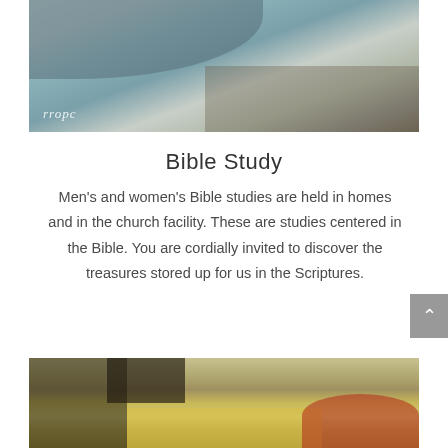[Figure (photo): Close-up photo of a person holding or touching fabric, with rropc watermark in lower left corner]
Bible Study
Men's and women's Bible studies are held in homes and in the church facility. These are studies centered in the Bible. You are cordially invited to discover the treasures stored up for us in the Scriptures.
[Figure (photo): Photo of a kitchen counter with food items including a red bowl of popcorn, bananas, and various other snacks and kitchen appliances]